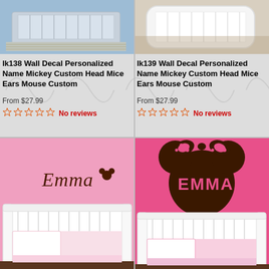[Figure (photo): Baby crib with striped rug in nursery room, product photo for lk138 wall decal]
lk138 Wall Decal Personalized Name Mickey Custom Head Mice Ears Mouse Custom
From $27.99
No reviews
[Figure (photo): White modern baby crib in nursery, product photo for lk139 wall decal]
lk139 Wall Decal Personalized Name Mickey Custom Head Mice Ears Mouse Custom
From $27.99
No reviews
[Figure (photo): Pink nursery wall with Emma Mickey Mouse custom vinyl wall decal above white crib]
[Figure (photo): Pink nursery wall with Emma Minnie Mouse head custom vinyl wall decal with polka dot bow above white crib]